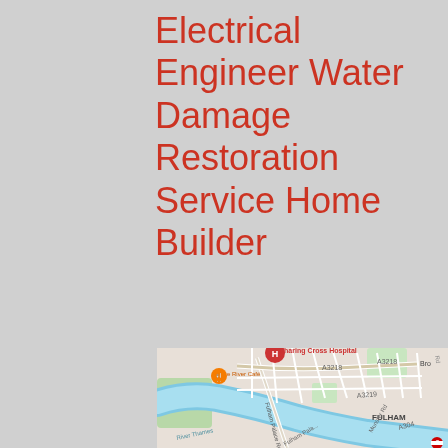Electrical Engineer Water Damage Restoration Service Home Builder
[Figure (map): Google Maps screenshot showing the area around Charing Cross Hospital and Fulham, London. Visible landmarks include Charing Cross Hospital (red location pin), The River Cafe (orange pin), River Thames (blue), roads A3218, A3219, A304, Fulham Palace Rd, Munster Rd, and area labels including Brompton and Fulham.]